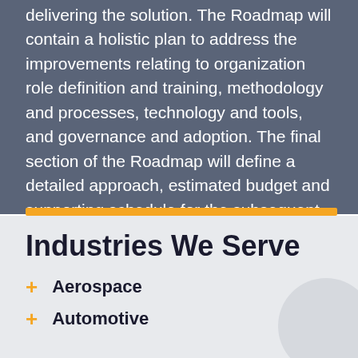delivering the solution. The Roadmap will contain a holistic plan to address the improvements relating to organization role definition and training, methodology and processes, technology and tools, and governance and adoption. The final section of the Roadmap will define a detailed approach, estimated budget and supporting schedule for the subsequent Implementation and Adoption Stages.
Industries We Serve
Aerospace
Automotive